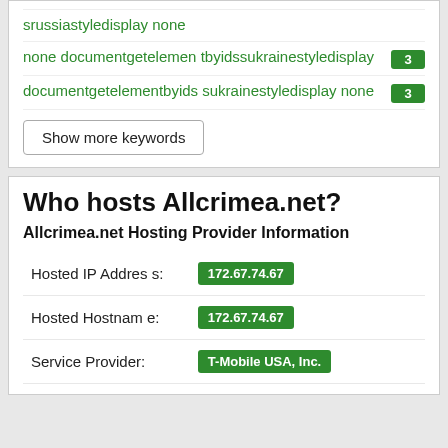srussiastyledisplay none
none documentgetelementbyidssukrainestyledisplay 3
documentgetelementbyidssukrainestyledisplay none 3
Show more keywords
Who hosts Allcrimea.net?
Allcrimea.net Hosting Provider Information
|  |  |
| --- | --- |
| Hosted IP Address: | 172.67.74.67 |
| Hosted Hostname: | 172.67.74.67 |
| Service Provider: | T-Mobile USA, Inc. |